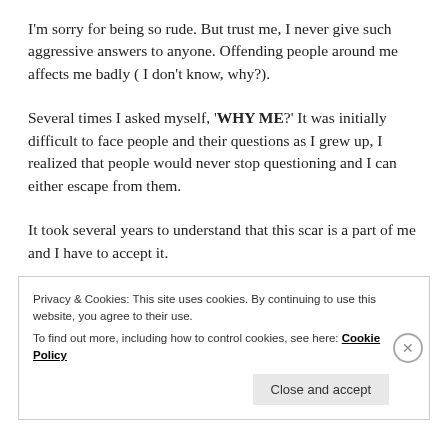I'm sorry for being so rude. But trust me, I never give such aggressive answers to anyone. Offending people around me affects me badly ( I don't know, why?).
Several times I asked myself, 'WHY ME?' It was initially difficult to face people and their questions as I grew up, I realized that people would never stop questioning and I can either escape from them.
It took several years to understand that this scar is a part of me and I have to accept it.
Privacy & Cookies: This site uses cookies. By continuing to use this website, you agree to their use.
To find out more, including how to control cookies, see here: Cookie Policy